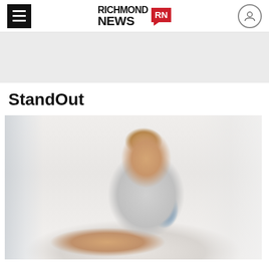Richmond News
[Figure (other): Advertisement placeholder banner, light gray background]
StandOut
[Figure (photo): A female massage therapist wearing a blue surgical mask and blue apron performs a massage on a person lying face-down on a massage table. The setting appears to be a bright, airy room with white curtains.]